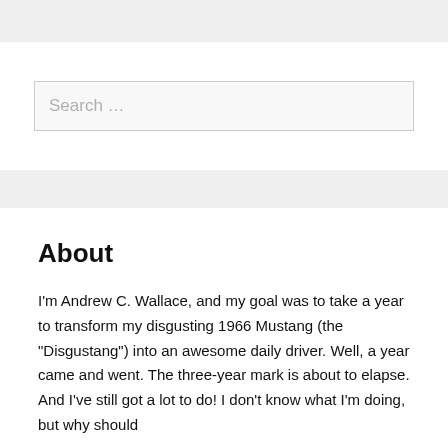Search …
About
I'm Andrew C. Wallace, and my goal was to take a year to transform my disgusting 1966 Mustang (the "Disgustang") into an awesome daily driver. Well, a year came and went. The three-year mark is about to elapse. And I've still got a lot to do! I don't know what I'm doing, but why should